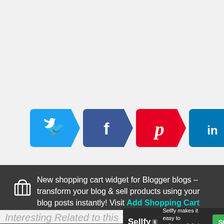[Figure (infographic): Six social share buttons in chevron/arrow shapes: Twitter (light blue), Facebook (dark blue), Pinterest (red), LinkedIn (teal/dark blue), Email (black), WhatsApp (green), each with their respective icons]
New shopping cart widget for Blogger blogs – transform your blog & sell products using your blog posts instantly! Visit Add Shopping Cart Widget Page to learn more.
[Figure (infographic): Sellfy advertisement bar: Sellfy logo with icon, tagline 'Sellfy makes it easy to sell your digital goods', and green 'Start free' button]
Interesting Related to this Topic at